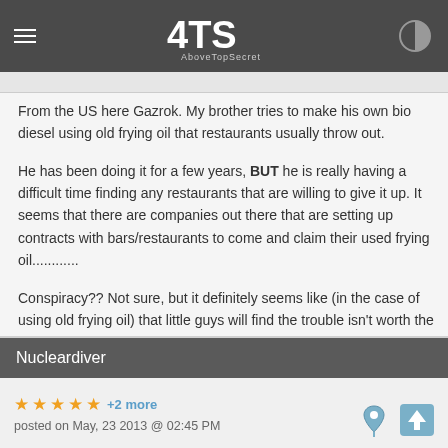AboveTopSecret (4TS) navigation bar
From the US here Gazrok. My brother tries to make his own bio diesel using old frying oil that restaurants usually throw out.

He has been doing it for a few years, BUT he is really having a difficult time finding any restaurants that are willing to give it up. It seems that there are companies out there that are setting up contracts with bars/restaurants to come and claim their used frying oil............

Conspiracy?? Not sure, but it definitely seems like (in the case of using old frying oil) that little guys will find the trouble isn't worth the savings....
Nucleardiver
★ ★ ★ ★ ★ +2 more
posted on May, 23 2013 @ 02:45 PM